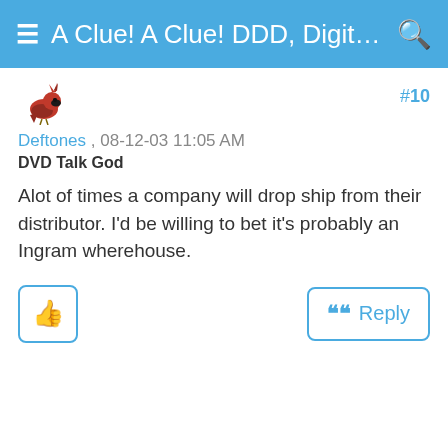≡ A Clue! A Clue! DDD, Digital Ey... 🔍
[Figure (illustration): Small cardinal bird avatar/icon in red and black]
#10
Deftones , 08-12-03 11:05 AM
DVD Talk God
Alot of times a company will drop ship from their distributor. I'd be willing to bet it's probably an Ingram wherehouse.